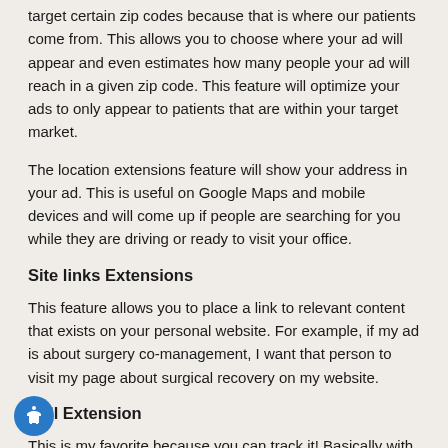target certain zip codes because that is where our patients come from. This allows you to choose where your ad will appear and even estimates how many people your ad will reach in a given zip code. This feature will optimize your ads to only appear to patients that are within your target market.
The location extensions feature will show your address in your ad. This is useful on Google Maps and mobile devices and will come up if people are searching for you while they are driving or ready to visit your office.
Site links Extensions
This feature allows you to place a link to relevant content that exists on your personal website. For example, if my ad is about surgery co-management, I want that person to visit my page about surgical recovery on my website.
Call Extension
This is my favorite because you can track it! Basically with this, your phone number will